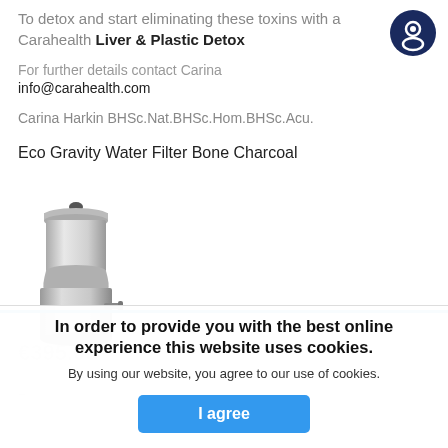To detox and start eliminating these toxins with a Carahealth Liver & Plastic Detox
For further details contact Carina
info@carahealth.com
Carina Harkin BHSc.Nat.BHSc.Hom.BHSc.Acu.
Eco Gravity Water Filter Bone Charcoal
[Figure (photo): Stainless steel gravity water filter with two-chamber design and small spigot]
In order to provide you with the best online experience this website uses cookies.
By using our website, you agree to our use of cookies.
I agree